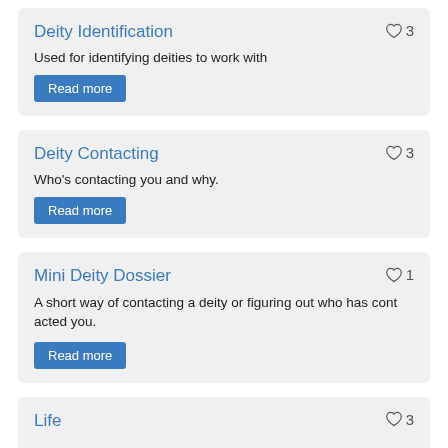Deity Identification
Used for identifying deities to work with
Deity Contacting
Who's contacting you and why.
Mini Deity Dossier
A short way of contacting a deity or figuring out who has contacted you.
Life